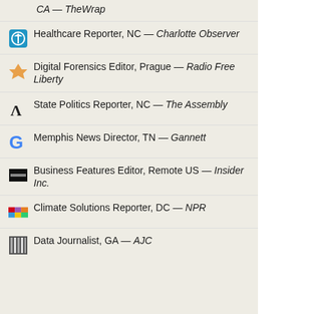CA — TheWrap
Healthcare Reporter, NC — Charlotte Observer
Digital Forensics Editor, Prague — Radio Free Liberty
State Politics Reporter, NC — The Assembly
Memphis News Director, TN — Gannett
Business Features Editor, Remote US — Insider Inc.
Climate Solutions Reporter, DC — NPR
Data Journalist, GA — AJC